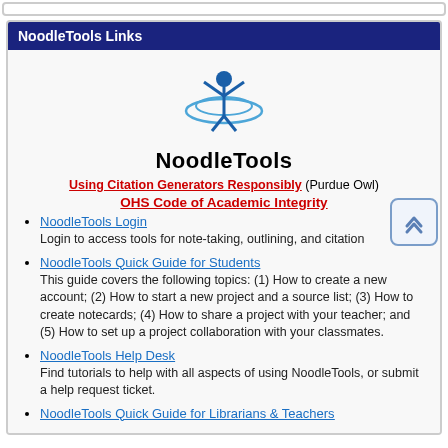NoodleTools Links
[Figure (logo): NoodleTools logo — stylized figure with arms raised above the word NoodleTools]
Using Citation Generators Responsibly (Purdue Owl)
OHS Code of Academic Integrity
NoodleTools Login
Login to access tools for note-taking, outlining, and citation
NoodleTools Quick Guide for Students
This guide covers the following topics: (1) How to create a new account; (2) How to start a new project and a source list; (3) How to create notecards; (4) How to share a project with your teacher; and (5) How to set up a project collaboration with your classmates.
NoodleTools Help Desk
Find tutorials to help with all aspects of using NoodleTools, or submit a help request ticket.
NoodleTools Quick Guide for Librarians & Teachers